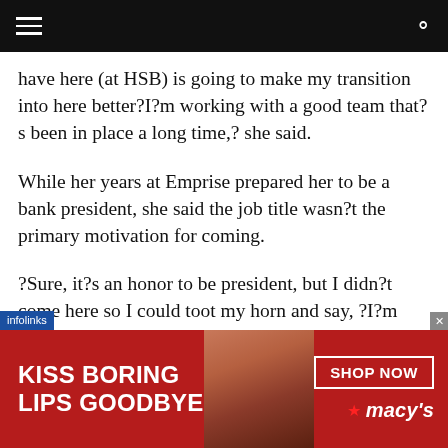[navigation bar with menu and search icons]
have here (at HSB) is going to make my transition into here better?I?m working with a good team that?s been in place a long time,? she said.
While her years at Emprise prepared her to be a bank president, she said the job title wasn?t the primary motivation for coming.
?Sure, it?s an honor to be president, but I didn?t come here so I could toot my horn and say, ?I?m president,?? Fleming said. ?I came here to do a job and to continue the tradition of Hillsboro State. It?s been
[Figure (infographic): Macy's advertisement banner: red background with 'KISS BORING LIPS GOODBYE' text on left, model photo in center, 'SHOP NOW' button and Macy's logo on right]